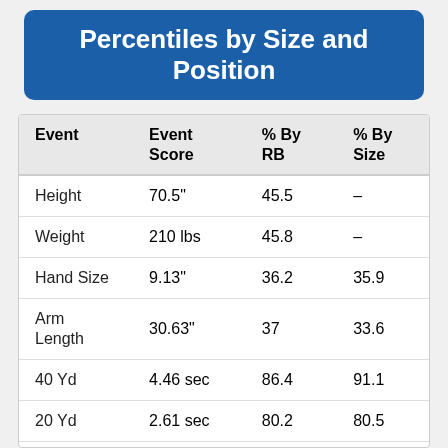Percentiles by Size and Position
| Event | Event Score | % By RB | % By Size |
| --- | --- | --- | --- |
| Height | 70.5" | 45.5 | – |
| Weight | 210 lbs | 45.8 | – |
| Hand Size | 9.13" | 36.2 | 35.9 |
| Arm Length | 30.63" | 37 | 33.6 |
| 40 Yd | 4.46 sec | 86.4 | 91.1 |
| 20 Yd | 2.61 sec | 80.2 | 80.5 |
| 10 Yd | 1.56 sec | 80.8 | 81.9 |
| Bench | (N/A) reps | – | – |